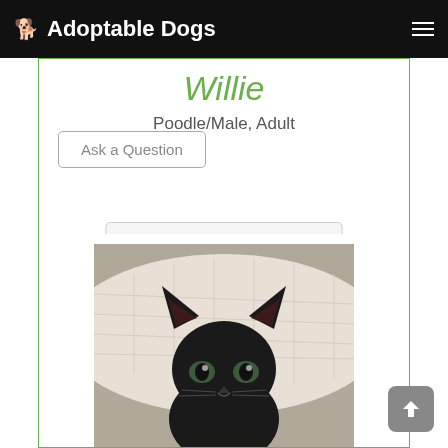Adoptable Dogs
Willie
Poodle/Male, Adult
Ask a Question
Details
[Figure (photo): A black kitten with large ears sitting on a white quilted surface, looking directly at the camera.]